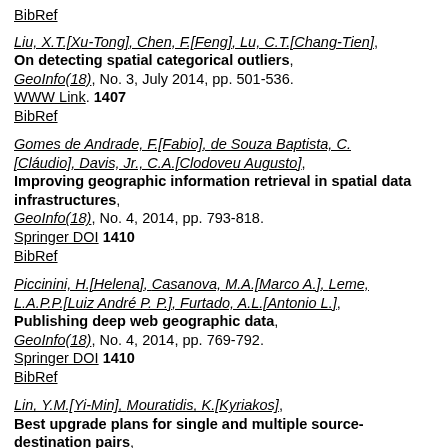BibRef
Liu, X.T.[Xu-Tong], Chen, F.[Feng], Lu, C.T.[Chang-Tien], On detecting spatial categorical outliers, GeoInfo(18), No. 3, July 2014, pp. 501-536. WWW Link. 1407 BibRef
Gomes de Andrade, F.[Fabio], de Souza Baptista, C.[Cláudio], Davis, Jr., C.A.[Clodoveu Augusto], Improving geographic information retrieval in spatial data infrastructures, GeoInfo(18), No. 4, 2014, pp. 793-818. Springer DOI 1410 BibRef
Piccinini, H.[Helena], Casanova, M.A.[Marco A.], Leme, L.A.P.P.[Luiz André P. P.], Furtado, A.L.[Antonio L.], Publishing deep web geographic data, GeoInfo(18), No. 4, 2014, pp. 769-792. Springer DOI 1410 BibRef
Lin, Y.M.[Yi-Min], Mouratidis, K.[Kyriakos], Best upgrade plans for single and multiple source-destination pairs,